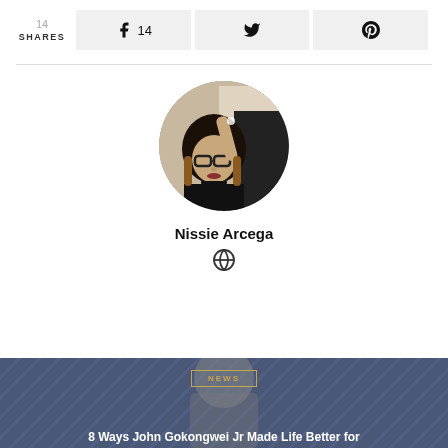14 SHARES
14 (Facebook)
(Twitter)
(Pinterest)
[Figure (photo): Circular profile photo of Nissie Arcega, a young woman with glasses and dark hair, wearing a black outfit, taking a selfie in a dim room.]
Nissie Arcega
[Figure (illustration): Globe/website icon]
[Figure (photo): Article preview image showing a person on a blue/purple patterned background with a NEWS badge and partial headline '8 Ways John Gokongwei Jr Made Life Better for']